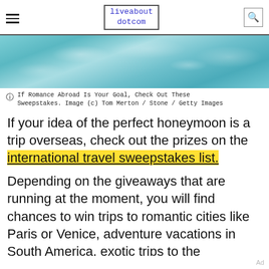liveabout dotcom
[Figure (photo): Close-up photo of turquoise ocean water with rippling light reflections on the surface.]
If Romance Abroad Is Your Goal, Check Out These Sweepstakes. Image (c) Tom Merton / Stone / Getty Images
If your idea of the perfect honeymoon is a trip overseas, check out the prizes on the international travel sweepstakes list.
Depending on the giveaways that are running at the moment, you will find chances to win trips to romantic cities like Paris or Venice, adventure vacations in South America, exotic trips to the
Ad